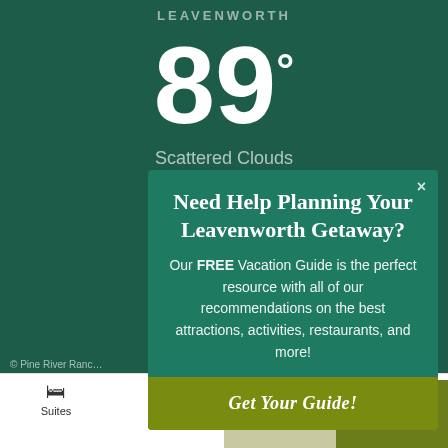LEAVENWORTH
89°
Scattered Clouds
[Figure (screenshot): Weather app screenshot showing Leavenworth at 89 degrees with scattered clouds on a dark green background]
Need Help Planning Your Leavenworth Getaway?
Our FREE Vacation Guide is the perfect resource with all of our recommendations on the best attractions, activities, restaurants, and more!
Get Your Guide!
© Pine River Ranch   Suites   Guide   Specials   BOOK